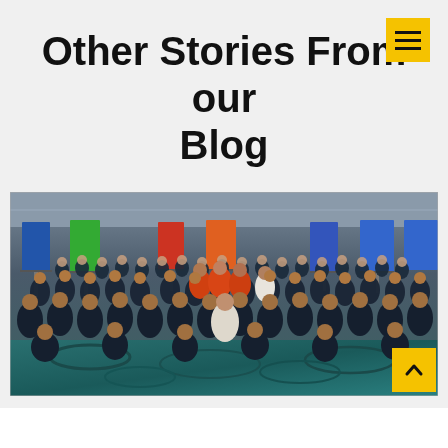Other Stories From our Blog
[Figure (photo): Large group photo of approximately 150-200 people, mostly wearing black polo shirts with orange accents (some in orange shirts and white outfits), posed together in a conference or event hall with teal patterned carpet and banner stands visible in the background.]